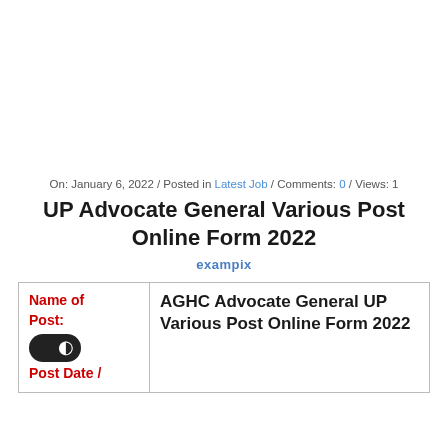On: January 6, 2022 / Posted in Latest Job / Comments: 0 / Views: 1
UP Advocate General Various Post Online Form 2022
exampix
| Name of Post: | AGHC Advocate General UP Various Post Online Form 2022 |
| --- | --- |
| Post Date / |  |